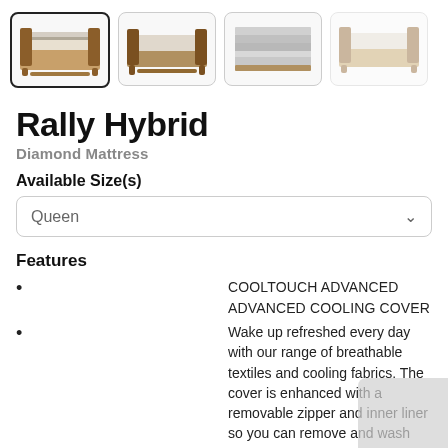[Figure (photo): Four thumbnail images of the Rally Hybrid mattress product in a bed frame, shown from different angles. First thumbnail is selected with a bold border.]
Rally Hybrid
Diamond Mattress
Available Size(s)
Queen
Features
COOLTOUCH ADVANCED ADVANCED COOLING COVER
Wake up refreshed every day with our range of breathable textiles and cooling fabrics. The cover is enhanced with a removable zipper and inner liner so you can remove and wash the cover.
SUPERCHARGE LAYER
Aqua Cool treatment adds an extra cooling component to the foam within your mattress to actively regulate temperature for longer, more comfortable sleep.